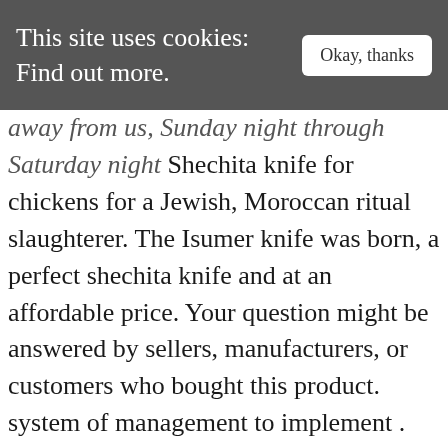This site uses cookies: Find out more.  [Okay, thanks]
away from us, Sunday night through Saturday night Shechita knife for chickens for a Jewish, Moroccan ritual slaughterer. The Isumer knife was born, a perfect shechita knife and at an affordable price. Your question might be answered by sellers, manufacturers, or customers who bought this product. system of management to implement . The knife used for shechita is called a hallaf by Ashkenazim or a sakin (Hebrew: סכין) by all Jews. At the cost we offer, Shochtim are no longer hesitant to replace their knives regularly to ensure a true kosher Shechita. Free shipping on orders over $99. : Checking the Knife R′ Aharon checks the knife with his fingernail to à□' 180mm.) * Knife for beef slaughtering 8"